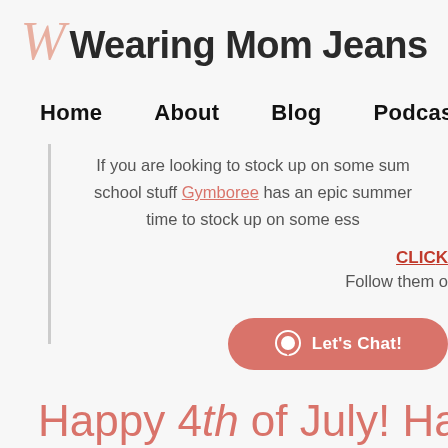Wearing Mom Jeans
Home  About  Blog  Podcast
If you are looking to stock up on some sum... school stuff Gymboree has an epic summer... time to stock up on some ess...
CLICK
Follow them o
Let's Chat!
Happy 4th of July! Happy